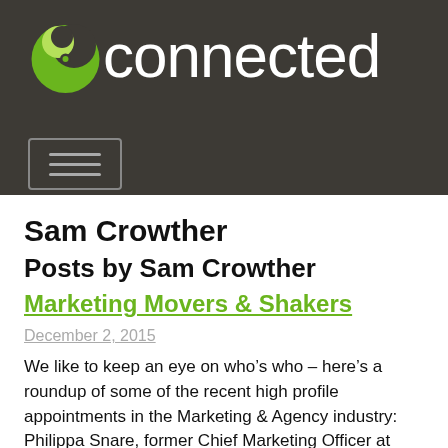[Figure (logo): Connected magazine logo with green circular icon and white 'connected' text on dark background]
Sam Crowther
Posts by Sam Crowther
Marketing Movers & Shakers
December 2, 2015
We like to keep an eye on who’s who – here’s a roundup of some of the recent high profile appointments in the Marketing & Agency industry: Philippa Snare, former Chief Marketing Officer at